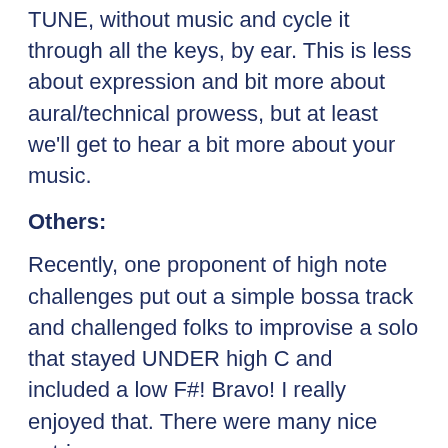TUNE, without music and cycle it through all the keys, by ear. This is less about expression and bit more about aural/technical prowess, but at least we'll get to hear a bit more about your music.
Others:
Recently, one proponent of high note challenges put out a simple bossa track and challenged folks to improvise a solo that stayed UNDER high C and included a low F#! Bravo! I really enjoyed that. There were many nice entries.
I trying to trigger more of this sort of effort. The high note challenges are a